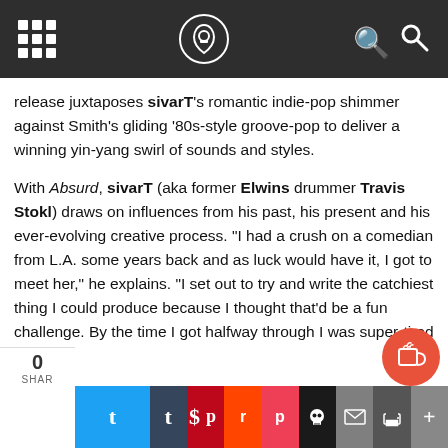[Navigation bar with grid icon, logo, and search icon]
release juxtaposes sivarT’s romantic indie-pop shimmer against Smith’s gliding ‘80s-style groove-pop to deliver a winning yin-yang swirl of sounds and styles.
With Absurd, sivarT (aka former Elwins drummer Travis Stokl) draws on influences from his past, his present and his ever-evolving creative process. “I had a crush on a comedian from L.A. some years back and as luck would have it, I got to meet her,” he explains. “I set out to try and write the catchiest thing I could produce because I thought that’d be a fun challenge. By the time I got halfway through I was super-tired of trying to write in the constraints I had set for myself. Five years later I returned to it, and it turns out it was still tough to finish but ended up enjoying what had come from some good hours put into it. Did I put some Ben Kweller energy into this song? Hell yes.”
0 SHAR | Twitter | Facebook | LinkedIn | Tumblr | Pinterest | Reddit | Pocket | Skull | Mail | Print | More